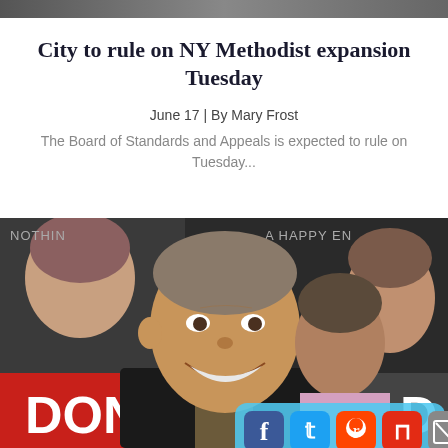City to rule on NY Methodist expansion Tuesday
June 17 | By Mary Frost
The Board of Standards and Appeals is expected to rule on Tuesday...
[Figure (photo): Man smiling in foreground at what appears to be a theater or entertainment event, with movie/show posters visible in background including text 'DON' and 'A HAPPY END'. Another man visible behind him. Bottom right corner shows social media sharing buttons for Facebook, Twitter, Reddit, Flipboard, Email, and More.]